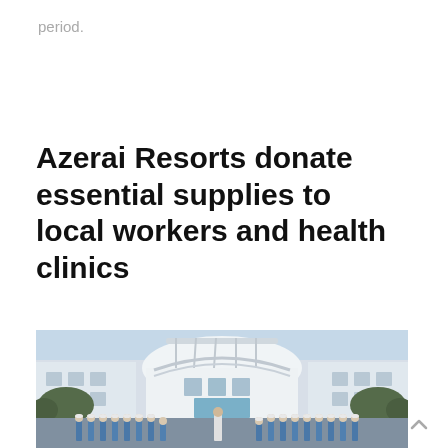period.
Azerai Resorts donate essential supplies to local workers and health clinics
[Figure (photo): Exterior of Azerai Resort building with a circular white multi-story structure featuring ornate railings and a pergola roof. A crowd of workers in blue protective coveralls and white caps stand gathered in front of the entrance.]